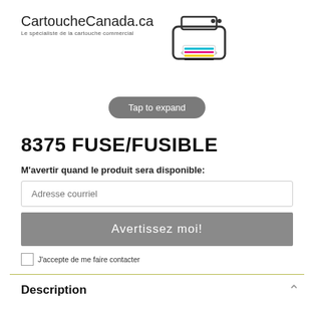CartoucheCanada.ca
Le spécialiste de la cartouche commercial
[Figure (illustration): Printer icon with colored ink cartridge lines (cyan, magenta, yellow, black)]
Tap to expand
8375 FUSE/FUSIBLE
M'avertir quand le produit sera disponible:
Adresse courriel
Avertissez moi!
J'accepte de me faire contacter
Description